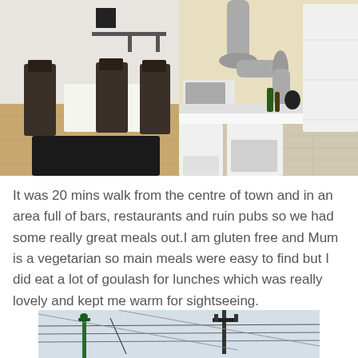[Figure (photo): Interior photo of a dining area with dark chairs around a white table, light wood flooring, white walls with shelves, and a dark rug.]
[Figure (photo): Interior photo of a white kitchen with appliances including microwave, oven, refrigerator, and a large metal ventilation duct on the ceiling.]
It was 20 mins walk from the centre of town and in an area full of bars, restaurants and ruin pubs so we had some really great meals out.I am gluten free and Mum is a vegetarian so main meals were easy to find but I did eat a lot of goulash for lunches which was really lovely and kept me warm for sightseeing.
[Figure (photo): Outdoor photo showing tram or trolleybus wires and poles against a light sky.]